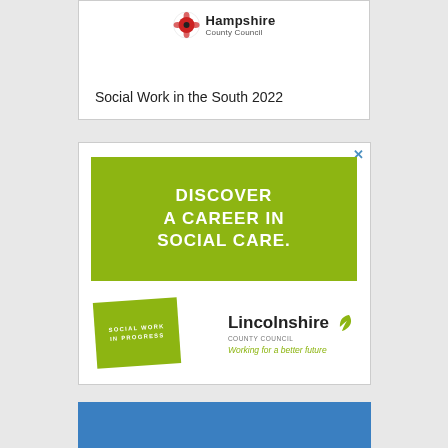[Figure (logo): Hampshire County Council logo with poppy emblem and title 'Social Work in the South 2022']
[Figure (illustration): Advertisement: 'DISCOVER A CAREER IN SOCIAL CARE.' on olive-green background, with Lincolnshire County Council branding and Social Work in Progress badge]
[Figure (illustration): Partial view of a third card with blue background at the bottom of the page]